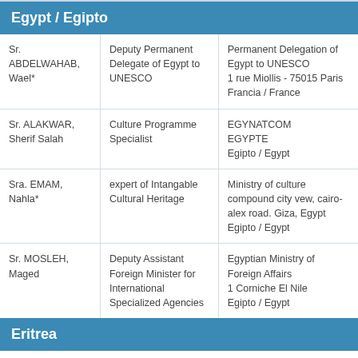Egypt / Egipto
| Sr. ABDELWAHAB, Wael* | Deputy Permanent Delegate of Egypt to UNESCO | Permanent Delegation of Egypt to UNESCO
1 rue Miollis - 75015 Paris
Francia / France |
| Sr. ALAKWAR, Sherif Salah | Culture Programme Specialist | EGYNATCOM
EGYPTE
Egipto / Egypt |
| Sra. EMAM, Nahla* | expert of Intangable Cultural Heritage | Ministry of culture compound city vew, cairo-alex road. Giza, Egypt
Egipto / Egypt |
| Sr. MOSLEH, Maged | Deputy Assistant Foreign Minister for International Specialized Agencies | Egyptian Ministry of Foreign Affairs
1 Corniche El Nile
Egipto / Egypt |
Eritrea